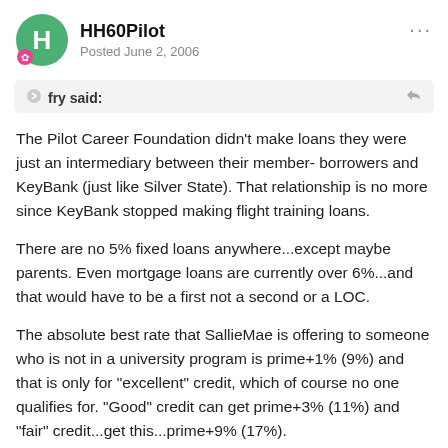HH60Pilot
Posted June 2, 2006
fry said:
The Pilot Career Foundation didn't make loans they were just an intermediary between their member- borrowers and KeyBank (just like Silver State). That relationship is no more since KeyBank stopped making flight training loans.
There are no 5% fixed loans anywhere...except maybe parents. Even mortgage loans are currently over 6%...and that would have to be a first not a second or a LOC.
The absolute best rate that SallieMae is offering to someone who is not in a university program is prime+1% (9%) and that is only for "excellent" credit, which of course no one qualifies for. "Good" credit can get prime+3% (11%) and "fair" credit...get this...prime+9% (17%).